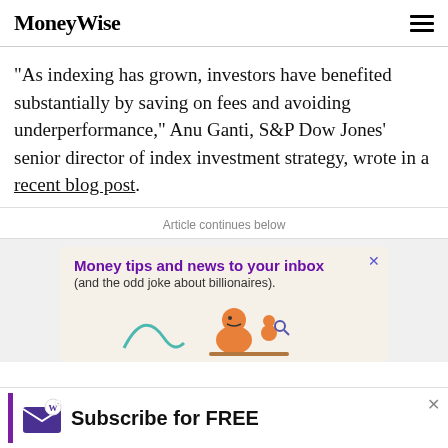MoneyWise
“As indexing has grown, investors have benefited substantially by saving on fees and avoiding underperformance,” Anu Ganti, S&P Dow Jones’ senior director of index investment strategy, wrote in a recent blog post.
Article continues below
[Figure (infographic): MoneyWise newsletter advertisement: 'Money tips and news to your inbox (and the odd joke about billionaires).' with cartoon illustration of a character reading.]
[Figure (infographic): MoneyWise subscribe bar: envelope logo with 'Subscribe for FREE' text and a close button.]